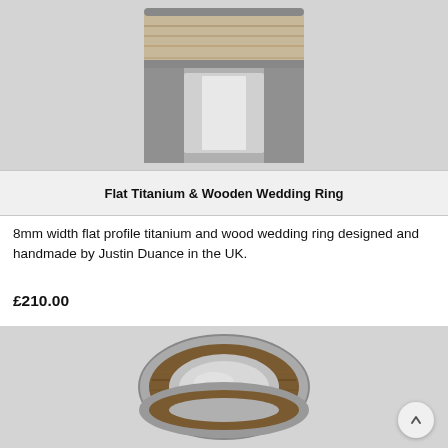[Figure (photo): Close-up photo of a flat titanium and wooden wedding ring viewed from the front, showing wood grain inlay on the outer band and polished silver inner surface]
Flat Titanium & Wooden Wedding Ring
8mm width flat profile titanium and wood wedding ring designed and handmade by Justin Duance in the UK.
£210.00
[Figure (photo): Side-angle photo of a flat titanium and wooden wedding ring showing the dark wood grain inlay wrapped around the outer surface of a polished titanium band]